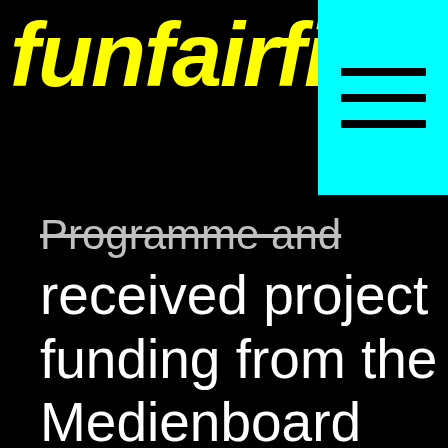funfairfi
[Figure (other): Cyan hamburger menu button with three horizontal black lines]
Programme and received project funding from the Medienboard Berlin-Brandenburg.